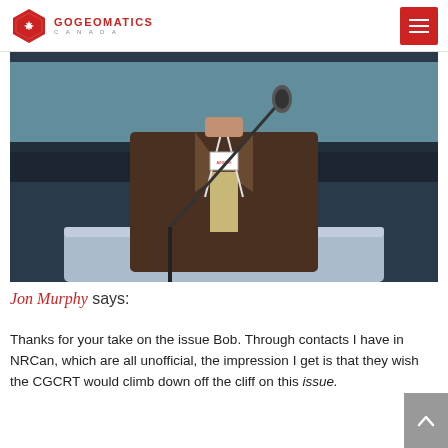GOGEOMATICS CANADA
[Figure (photo): A person in a brown blazer with a conference lanyard standing at a podium/lectern with a microphone, photographed from the shoulders up with the face not visible in the frame.]
Jon Murphy says:
Thanks for your take on the issue Bob. Through contacts I have in NRCan, which are all unofficial, the impression I get is that they wish the CGCRT would climb down off the cliff on this issue.